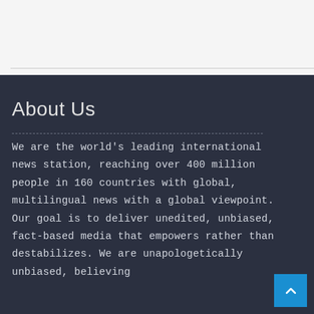About Us
We are the world's leading international news station, reaching over 400 million people in 160 countries with global, multilingual news with a global viewpoint. Our goal is to deliver unedited, unbiased, fact-based media that empowers rather than destabilizes. We are unapologetically unbiased, believing